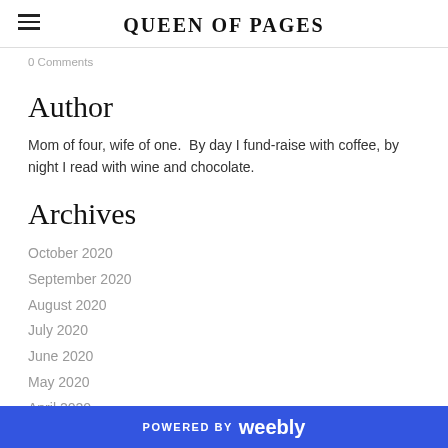QUEEN OF PAGES
0 Comments
Author
Mom of four, wife of one.  By day I fund-raise with coffee, by night I read with wine and chocolate.
Archives
October 2020
September 2020
August 2020
July 2020
June 2020
May 2020
April 2020
POWERED BY weebly